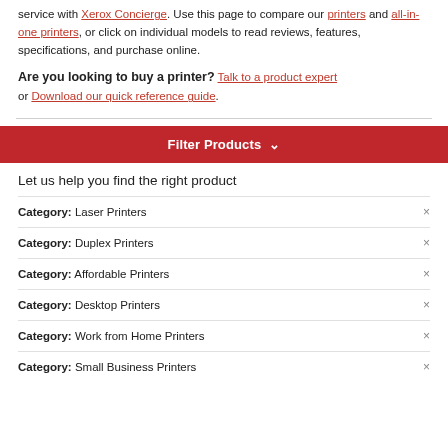service with Xerox Concierge. Use this page to compare our printers and all-in-one printers, or click on individual models to read reviews, features, specifications, and purchase online.
Are you looking to buy a printer? Talk to a product expert or Download our quick reference guide.
Filter Products ∨
Let us help you find the right product
Category: Laser Printers
Category: Duplex Printers
Category: Affordable Printers
Category: Desktop Printers
Category: Work from Home Printers
Category: Small Business Printers